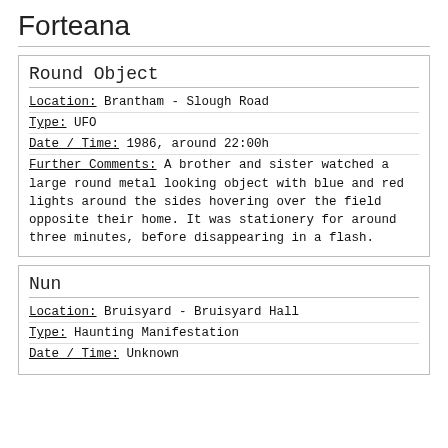Forteana
Round Object
Location: Brantham - Slough Road
Type: UFO
Date / Time: 1986, around 22:00h
Further Comments: A brother and sister watched a large round metal looking object with blue and red lights around the sides hovering over the field opposite their home. It was stationery for around three minutes, before disappearing in a flash.
Nun
Location: Bruisyard - Bruisyard Hall
Type: Haunting Manifestation
Date / Time: Unknown